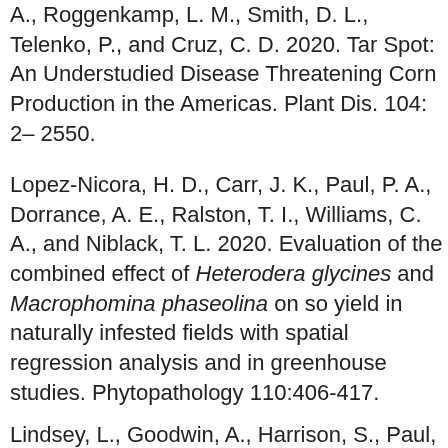A., Roggenkamp, L. M., Smith, D. L., Telenko, P., and Cruz, C. D. 2020. Tar Spot: An Understudied Disease Threatening Corn Production in the Americas. Plant Dis. 104: 2–2550.
Lopez-Nicora, H. D., Carr, J. K., Paul, P. A., Dorrance, A. E., Ralston, T. I., Williams, C. A., and Niblack, T. L. 2020. Evaluation of the combined effect of Heterodera glycines and Macrophomina phaseolina on soybean yield in naturally infested fields with spatial regression analysis and in greenhouse studies. Phytopathology 110:406-417.
Lindsey, L., Goodwin, A., Harrison, S., Paul, P.